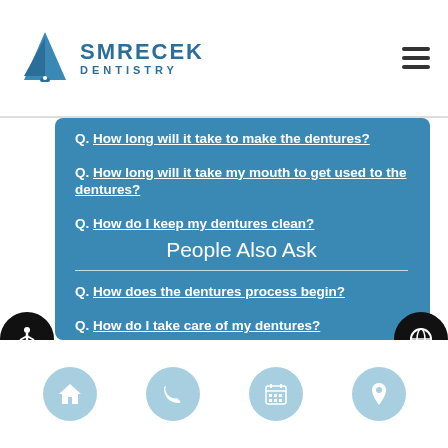Smrecek Dentistry
Q. How long will it take to make the dentures?
Q. How long will it take my mouth to get used to the dentures?
Q. How do I keep my dentures clean?
People Also Ask
Q. How does the dentures process begin?
Q. How do I take care of my dentures?
Q. What do I do if I damage my dentures?